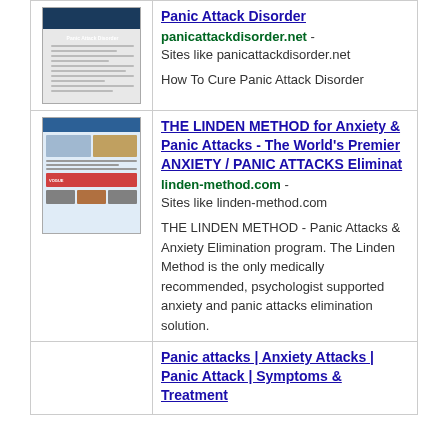| Thumbnail | Result |
| --- | --- |
| [screenshot of panicattackdisorder.net] | Panic Attack Disorder
panicattackdisorder.net - Sites like panicattackdisorder.net

How To Cure Panic Attack Disorder |
| [screenshot of linden-method.com] | THE LINDEN METHOD for Anxiety & Panic Attacks - The World's Premier ANXIETY / PANIC ATTACKS Eliminat
linden-method.com - Sites like linden-method.com

THE LINDEN METHOD - Panic Attacks & Anxiety Elimination program. The Linden Method is the only medically recommended, psychologist supported anxiety and panic attacks elimination solution. |
| [screenshot] | Panic attacks | Anxiety Attacks | Panic Attack | Symptoms & Treatment |